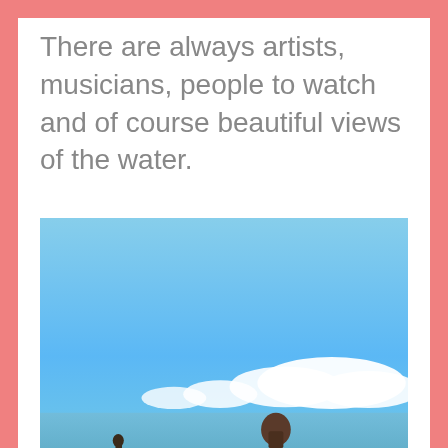There are always artists, musicians, people to watch and of course beautiful views of the water.
[Figure (photo): Outdoor photo with a bright blue sky and white clouds in the upper portion. In the lower portion, a person is visible against the sky. The scene appears to be taken outdoors near water on a clear day.]